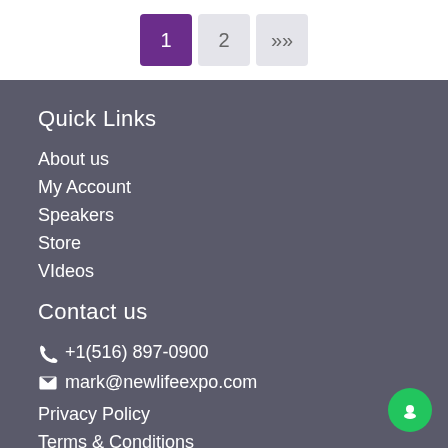Pagination: 1, 2, >>
Quick Links
About us
My Account
Speakers
Store
VIdeos
Contact us
+1(516) 897-0900
mark@newlifeexpo.com
Privacy Policy
Terms & Conditions